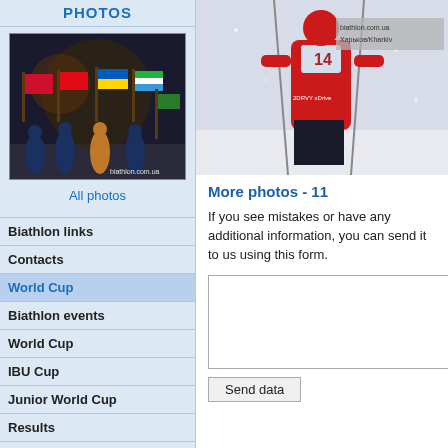PHOTOS
[Figure (photo): Group of people holding national flags (Hong Kong, Turkey, Ukraine, Uzbekistan) at a biathlon event at night. Watermark: biathlon.com.ua]
All photos
Biathlon links
Contacts
World Cup
Biathlon events
World Cup
IBU Cup
Junior World Cup
Results
Nation Cup
IBU Nations cup
Shooting
Speed statistics
Births statistics
[Figure (photo): Biathlete in red suit with number 14, holding ski poles, in snowy conditions. Watermark: biathlon.com.ua]
More photos - 11
If you see mistakes or have any additional information, you can send it to us using this form.
Send data